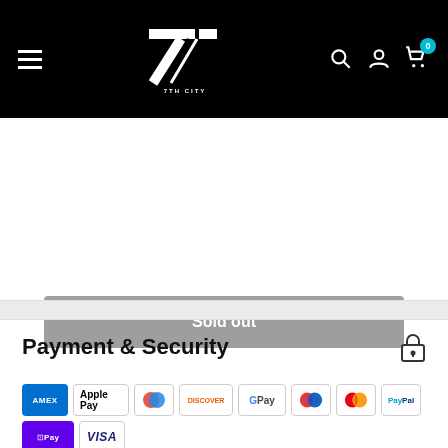[Figure (logo): 7th City Collectables logo on black header bar with hamburger menu, search, account, and cart icons]
Sold out
Share this product
Payment & Security
[Figure (infographic): Payment method icons: Amex, Apple Pay, Diners, Discover, Google Pay, Maestro, Mastercard, PayPal, ShopPay, Visa]